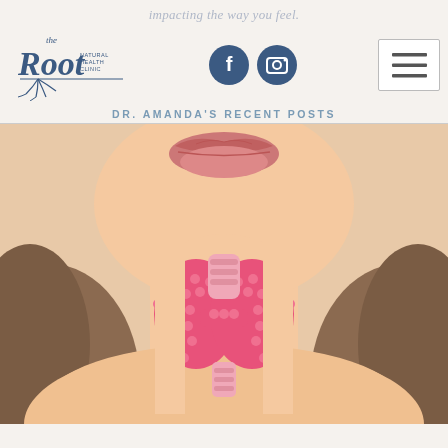impacting the way you feel.
[Figure (logo): The Root Natural Health Clinic logo with stylized script text and tree roots]
[Figure (screenshot): Facebook and Instagram social media icon buttons (dark navy circles with white icons)]
[Figure (other): Hamburger menu button (three horizontal lines in a white square with border)]
DR. AMANDA'S RECENT POSTS
[Figure (illustration): Illustration of a woman's neck showing the thyroid gland highlighted in pink with dotted texture, butterfly-shaped gland visible at throat area]